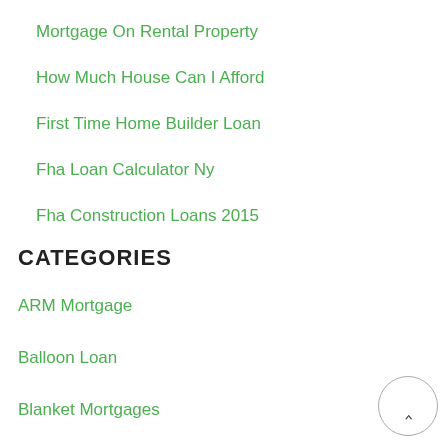Mortgage On Rental Property
How Much House Can I Afford
First Time Home Builder Loan
Fha Loan Calculator Ny
Fha Construction Loans 2015
CATEGORIES
ARM Mortgage
Balloon Loan
Blanket Mortgages